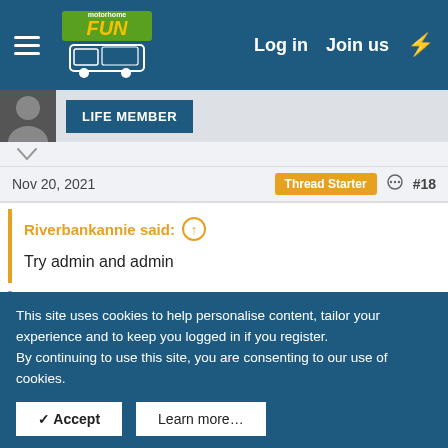Motorhome FUN — Log in   Join us
[Figure (screenshot): Motorhome FUN forum logo with van illustration]
LIFE MEMBER
Nov 20, 2021
Thread Starter   #18
Riverbankannie said: ↑
Try admin and admin
St3v3 said: ↑
Is the device you're logging on with capitalising the 'A'?
This site uses cookies to help personalise content, tailor your experience and to keep you logged in if you register.
By continuing to use this site, you are consenting to our use of cookies.